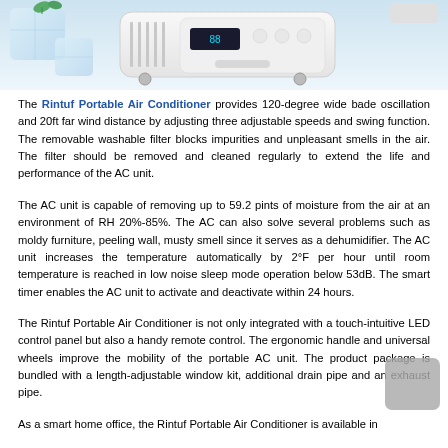[Figure (photo): Product photo showing ice cubes with mint leaf on left, a white portable air conditioner unit in center, on a light blue background.]
The Rintuf Portable Air Conditioner provides 120-degree wide bade oscillation and 20ft far wind distance by adjusting three adjustable speeds and swing function. The removable washable filter blocks impurities and unpleasant smells in the air. The filter should be removed and cleaned regularly to extend the life and performance of the AC unit.
The AC unit is capable of removing up to 59.2 pints of moisture from the air at an environment of RH 20%-85%. The AC can also solve several problems such as moldy furniture, peeling wall, musty smell since it serves as a dehumidifier. The AC unit increases the temperature automatically by 2°F per hour until room temperature is reached in low noise sleep mode operation below 53dB. The smart timer enables the AC unit to activate and deactivate within 24 hours.
The Rintuf Portable Air Conditioner is not only integrated with a touch-intuitive LED control panel but also a handy remote control. The ergonomic handle and universal wheels improve the mobility of the portable AC unit. The product package is bundled with a length-adjustable window kit, additional drain pipe and an exhaust pipe.
As a smart home office, the Rintuf Portable Air Conditioner is available in